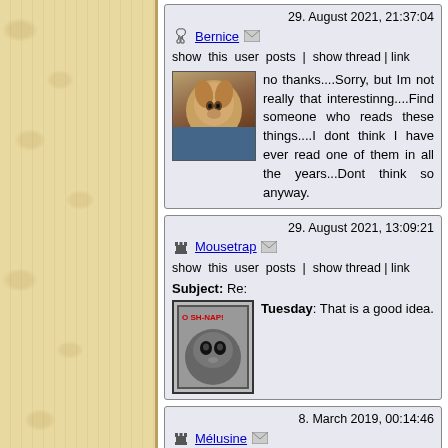29. August 2021, 21:37:04
Bernice
show this user posts | show thread | link
no thanks....Sorry, but Im not really that interestinng....Find someone who reads these things....I dont think I have ever read one of them in all the years...Dont think so anyway.
29. August 2021, 13:09:21
Mousetrap
show this user posts | show thread | link
Subject: Re:
Tuesday: That is a good idea.
8. March 2019, 00:14:46
Mélusine
show this user posts | show thread | link